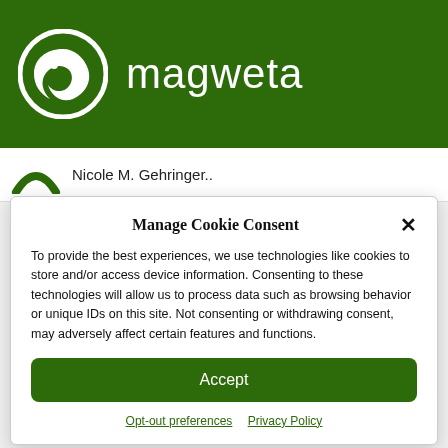[Figure (logo): Magweta company logo: white bird/snake circle icon on green background with white text 'magweta']
Nicole M. Gehringer..
Manage Cookie Consent
To provide the best experiences, we use technologies like cookies to store and/or access device information. Consenting to these technologies will allow us to process data such as browsing behavior or unique IDs on this site. Not consenting or withdrawing consent, may adversely affect certain features and functions.
Accept
Opt-out preferences   Privacy Policy